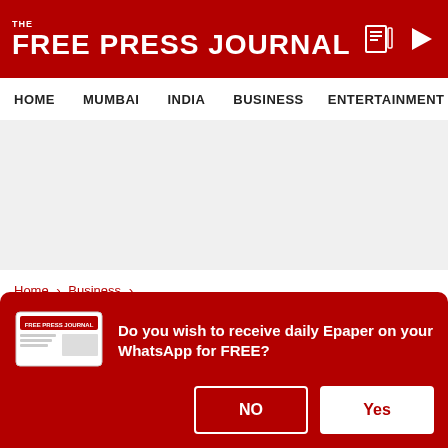THE FREE PRESS JOURNAL
HOME  MUMBAI  INDIA  BUSINESS  ENTERTAINMENT  PHO
Home › Business ›
Nirmala Sitharaman says UN, World Bank, IMF in need of urgent reforms
Do you wish to receive daily Epaper on your WhatsApp for FREE?